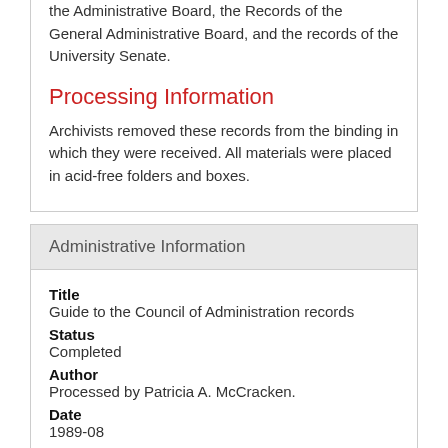the Administrative Board, the Records of the General Administrative Board, and the records of the University Senate.
Processing Information
Archivists removed these records from the binding in which they were received. All materials were placed in acid-free folders and boxes.
Administrative Information
Title
Guide to the Council of Administration records
Status
Completed
Author
Processed by Patricia A. McCracken.
Date
1989-08
Description rules
Describing Archives: A Content Standard